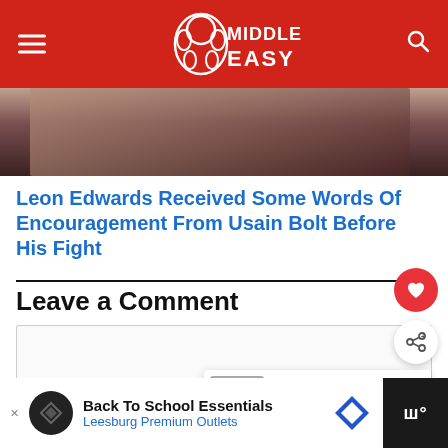[Figure (screenshot): MiddleEasy website header with red background, hamburger menu icon on left, MiddleEasy gorilla logo in center, search icon on right]
[Figure (photo): Cropped photo showing people, partially visible, appears to be Leon Edwards and Usain Bolt]
Leon Edwards Received Some Words Of Encouragement From Usain Bolt Before His Fight
Leave a Comment
[Figure (screenshot): Comment text input box area, empty]
[Figure (screenshot): What's Next panel showing thumbnail and text: Team Russia vs. The worl...]
[Figure (screenshot): Advertisement banner: Back To School Essentials - Leesburg Premium Outlets]